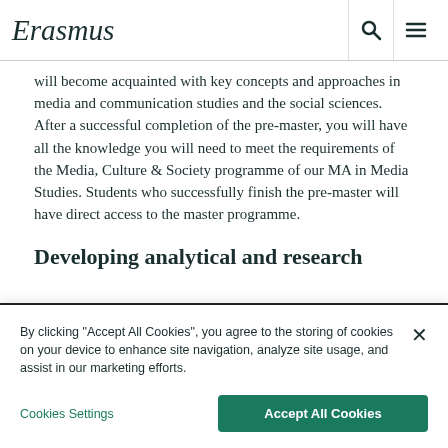Erasmus University Rotterdam
will become acquainted with key concepts and approaches in media and communication studies and the social sciences. After a successful completion of the pre-master, you will have all the knowledge you will need to meet the requirements of the Media, Culture & Society programme of our MA in Media Studies. Students who successfully finish the pre-master will have direct access to the master programme.
Developing analytical and research
By clicking "Accept All Cookies", you agree to the storing of cookies on your device to enhance site navigation, analyze site usage, and assist in our marketing efforts.
Cookies Settings
Accept All Cookies